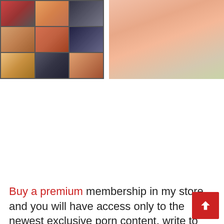[Figure (screenshot): Two image panels at top: left panel is a 3x3 grid of animated/video thumbnails with various colorful scenes; right panel shows an anime-style illustration of a reclining female figure on green bedding.]
Buy a premium membership in my store and you will have access only to the newest exclusive porn content, write to the feedback form, wishes or order any porn of the most unusual topics! After you subscribe to my